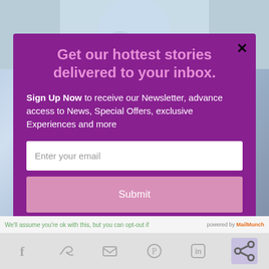[Figure (screenshot): Background showing a movie poster or illustration with soft blue/gray tones, partially obscured by a modal overlay. Social sharing icons (Facebook, Twitter, email, Pinterest, LinkedIn, share) visible at bottom.]
Get our hottest stories delivered to your inbox.
Sign Up Now to receive our Newsletter, advance access to News, Special Offers, exclusive Experiences and more
Enter your email
Submit
We'll assume you're ok with this, but you can opt-out if
powered by MailMunch